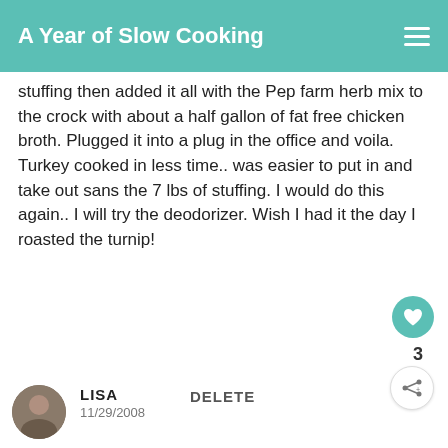A Year of Slow Cooking
stuffing then added it all with the Pep farm herb mix to the crock with about a half gallon of fat free chicken broth. Plugged it into a plug in the office and voila. Turkey cooked in less time.. was easier to put in and take out sans the 7 lbs of stuffing. I would do this again.. I will try the deodorizer. Wish I had it the day I roasted the turnip!
DELETE
LISA
11/29/2008
I have a electric potpourri crockpot... going to try this in it. Thanks!
WHAT'S NEXT → Roasted Garlic in the...